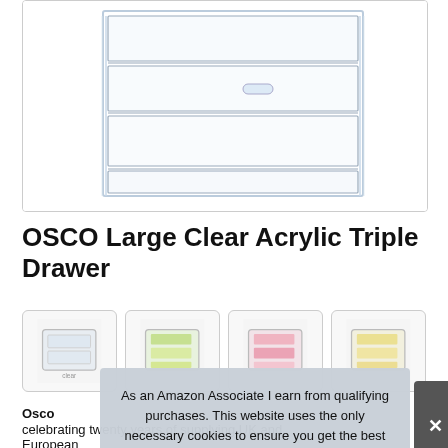[Figure (photo): Clear acrylic triple drawer organizer with three transparent pull-out drawers, shown at an angle on white background]
OSCO Large Clear Acrylic Triple Drawer
[Figure (photo): Four product thumbnail images showing drawer organizer with various contents including white, green/yellow, pink, and yellow items]
Osco celebrating twenty years of supplying UK and European
As an Amazon Associate I earn from qualifying purchases. This website uses the only necessary cookies to ensure you get the best experience on our website. More information